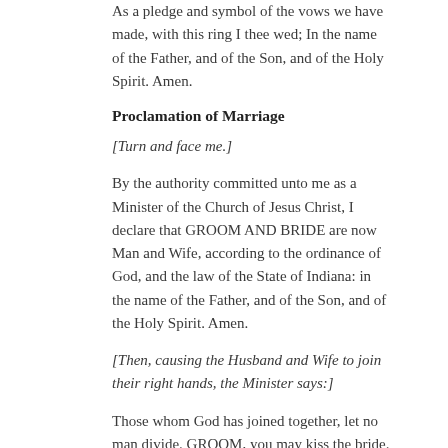As a pledge and symbol of the vows we have made, with this ring I thee wed; In the name of the Father, and of the Son, and of the Holy Spirit. Amen.
Proclamation of Marriage
[Turn and face me.]
By the authority committed unto me as a Minister of the Church of Jesus Christ, I declare that GROOM AND BRIDE are now Man and Wife, according to the ordinance of God, and the law of the State of Indiana: in the name of the Father, and of the Son, and of the Holy Spirit. Amen.
[Then, causing the Husband and Wife to join their right hands, the Minister says:]
Those whom God has joined together, let no man divide. GROOM, you may kiss the bride.
Congregational Hymn*